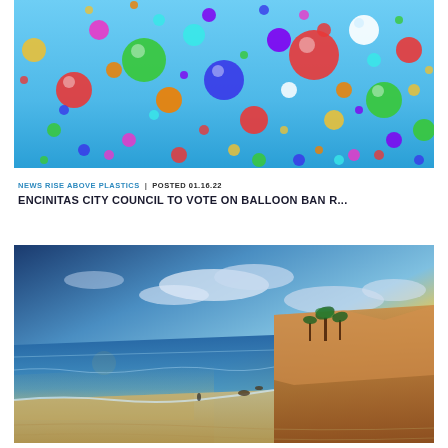[Figure (photo): Colorful balloons of various sizes floating against a blue sky, viewed from below]
NEWS RISE ABOVE PLASTICS  |  POSTED 01.16.22
ENCINITAS CITY COUNCIL TO VOTE ON BALLOON BAN R...
[Figure (photo): Coastal beach sunset scene with dramatic sky, sandy beach, ocean waves, and sandy cliffs with palm trees on the right side - Encinitas California coast]